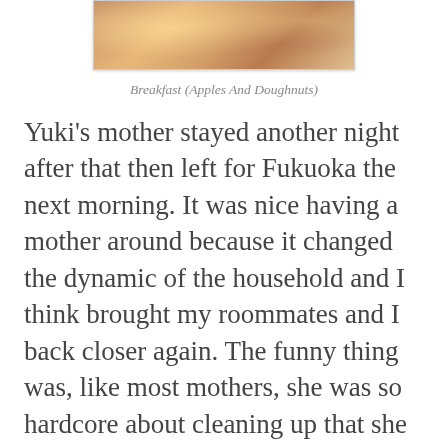[Figure (photo): Photo of breakfast food items, apples and doughnuts on a plate]
Breakfast (Apples And Doughnuts)
Yuki's mother stayed another night after that then left for Fukuoka the next morning. It was nice having a mother around because it changed the dynamic of the household and I think brought my roommates and I back closer again. The funny thing was, like most mothers, she was so hardcore about cleaning up that she would vacuum the entire house in the early morning and do the dishes if we left them in the sink for more than ten minutes, but Ian and I both noticed quickly that she didn't do a very good job because all the cups were still dirty; and we had to wash them again when